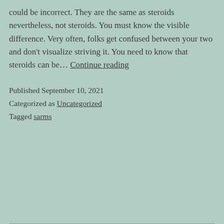could be incorrect. They are the same as steroids nevertheless, not steroids. You must know the visible difference. Very often, folks get confused between your two and don't visualize striving it. You need to know that steroids can be… Continue reading
Published September 10, 2021
Categorized as Uncategorized
Tagged sarms